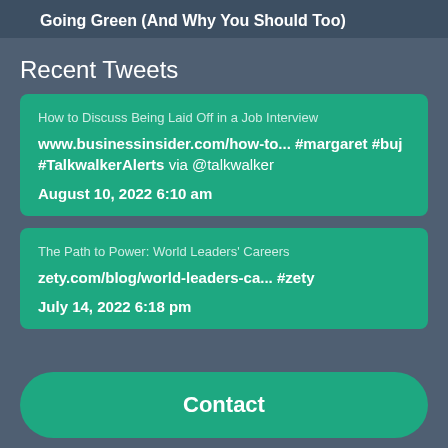Going Green (And Why You Should Too)
Recent Tweets
How to Discuss Being Laid Off in a Job Interview www.businessinsider.com/how-to... #margaret #buj #TalkwalkerAlerts via @talkwalker
August 10, 2022 6:10 am
The Path to Power: World Leaders' Careers zety.com/blog/world-leaders-ca... #zety
July 14, 2022 6:18 pm
Contact